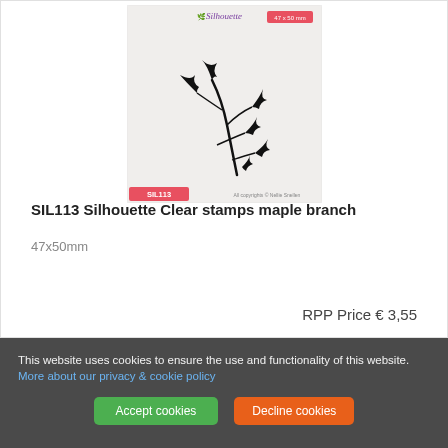[Figure (photo): Product image of SIL113 Silhouette Clear stamps maple branch showing black maple leaf silhouette on white textured background with product label and copyright text]
SIL113 Silhouette Clear stamps maple branch
47x50mm
RPP Price € 3,55
This website uses cookies to ensure the use and functionality of this website.
More about our privacy & cookie policy
Accept cookies
Decline cookies